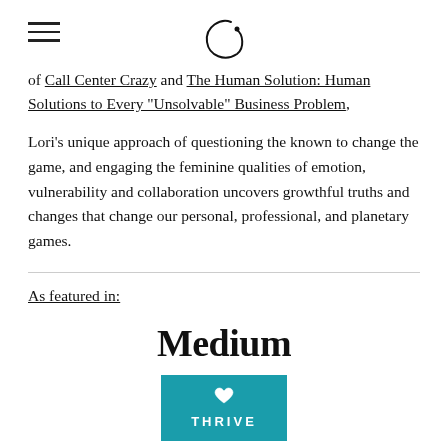[Navigation logo and hamburger menu]
of Call Center Crazy and The Human Solution: Human Solutions to Every "Unsolvable" Business Problem,
Lori's unique approach of questioning the known to change the game, and engaging the feminine qualities of emotion, vulnerability and collaboration uncovers growthful truths and changes that change our personal, professional, and planetary games.
As featured in:
[Figure (logo): Medium logo in large bold serif text]
[Figure (logo): Thrive Global logo — teal/cyan rectangle with heart icon and THRIVE text in white]